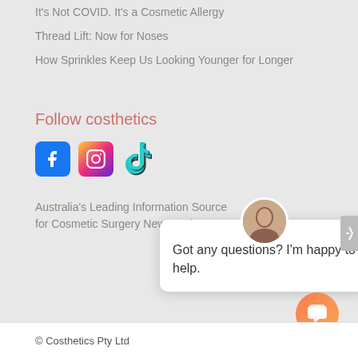It's Not COVID. It's a Cosmetic Allergy
Thread Lift: Now for Noses
How Sprinkles Keep Us Looking Younger for Longer
Follow costhetics
[Figure (infographic): Social media icons: Facebook (blue square with f), Instagram (gradient square with camera icon), TikTok (musical note logo)]
Australia's Leading Information Source for Cosmetic Surgery News and Cos...
[Figure (screenshot): Chat popup with avatar photo of a woman, close X button, and text: Got any questions? I'm happy to help.]
© Costhetics Pty Ltd